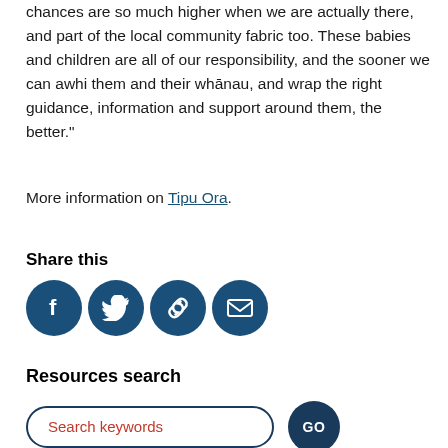chances are so much higher when we are actually there, and part of the local community fabric too. These babies and children are all of our responsibility, and the sooner we can awhi them and their whānau, and wrap the right guidance, information and support around them, the better."
More information on Tipu Ora.
Share this
[Figure (infographic): Social share icons: Facebook, Twitter, link/copy, email — all dark blue circles with white icons]
Resources search
[Figure (other): Search bar with placeholder 'Search keywords' in red text, rounded border in dark blue, and a circular GO button in dark blue]